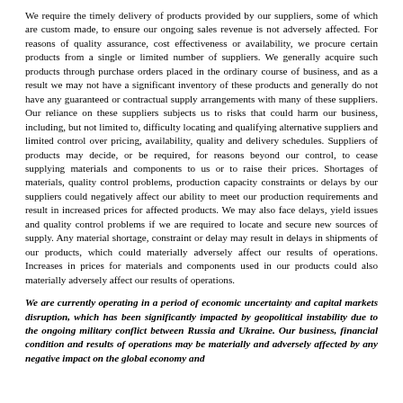We require the timely delivery of products provided by our suppliers, some of which are custom made, to ensure our ongoing sales revenue is not adversely affected. For reasons of quality assurance, cost effectiveness or availability, we procure certain products from a single or limited number of suppliers. We generally acquire such products through purchase orders placed in the ordinary course of business, and as a result we may not have a significant inventory of these products and generally do not have any guaranteed or contractual supply arrangements with many of these suppliers. Our reliance on these suppliers subjects us to risks that could harm our business, including, but not limited to, difficulty locating and qualifying alternative suppliers and limited control over pricing, availability, quality and delivery schedules. Suppliers of products may decide, or be required, for reasons beyond our control, to cease supplying materials and components to us or to raise their prices. Shortages of materials, quality control problems, production capacity constraints or delays by our suppliers could negatively affect our ability to meet our production requirements and result in increased prices for affected products. We may also face delays, yield issues and quality control problems if we are required to locate and secure new sources of supply. Any material shortage, constraint or delay may result in delays in shipments of our products, which could materially adversely affect our results of operations. Increases in prices for materials and components used in our products could also materially adversely affect our results of operations.
We are currently operating in a period of economic uncertainty and capital markets disruption, which has been significantly impacted by geopolitical instability due to the ongoing military conflict between Russia and Ukraine. Our business, financial condition and results of operations may be materially and adversely affected by any negative impact on the global economy and